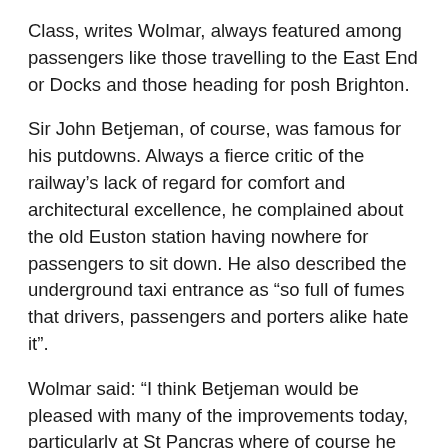Class, writes Wolmar, always featured among passengers like those travelling to the East End or Docks and those heading for posh Brighton.
Sir John Betjeman, of course, was famous for his putdowns. Always a fierce critic of the railway's lack of regard for comfort and architectural excellence, he complained about the old Euston station having nowhere for passengers to sit down. He also described the underground taxi entrance as “so full of fumes that drivers, passengers and porters alike hate it”.
Wolmar said: “I think Betjeman would be pleased with many of the improvements today, particularly at St Pancras where of course he has a rather fine, larger than life playful statue.”
Wolmar argues that passenger numbers have more than doubled in the past 20 years. Even during the current